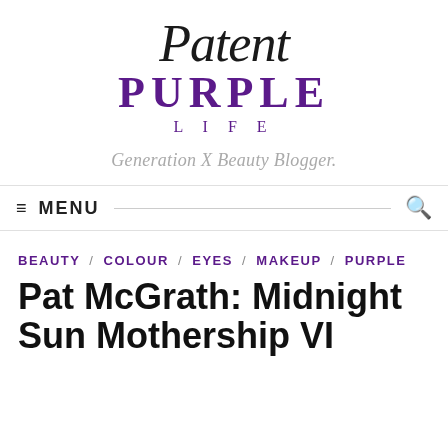[Figure (logo): Patent Purple Life blog logo: 'Patent' in large italic script, 'PURPLE' in bold purple serif uppercase, 'LIFE' in spaced purple small caps]
Generation X Beauty Blogger.
≡ MENU
BEAUTY / COLOUR / EYES / MAKEUP / PURPLE
Pat McGrath: Midnight Sun Mothership VI